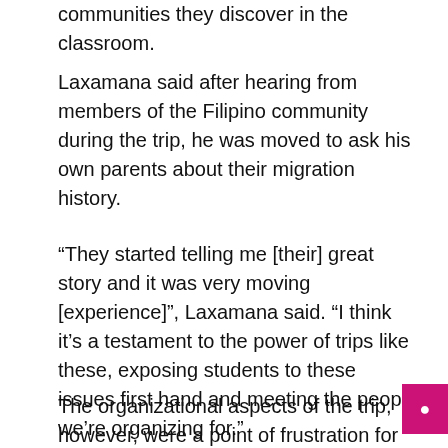communities they discover in the classroom.
Laxamana said after hearing from members of the Filipino community during the trip, he was moved to ask his own parents about their migration history.
“They started telling me [their] great story and it was very moving [experience]”, Laxamana said. “I think it’s a testament to the power of trips like these, exposing students to these issues first hand and meeting the people we’re organizing for.”
The organizational aspects of the trip, however, were a point of frustration for Laxamana. As tri leaders, Laxamana and Castaneros frequently